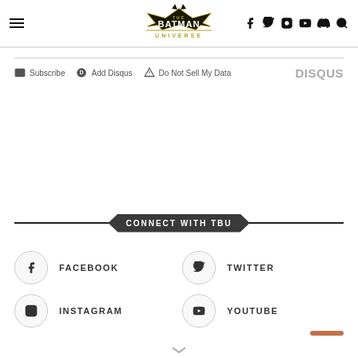The Batman Universe — navigation header with hamburger menu, logo, social icons (facebook, twitter, instagram, youtube, discord, search)
Subscribe  Add Disqus  Do Not Sell My Data   DISQUS
CONNECT WITH TBU
FACEBOOK
TWITTER
INSTAGRAM
YOUTUBE